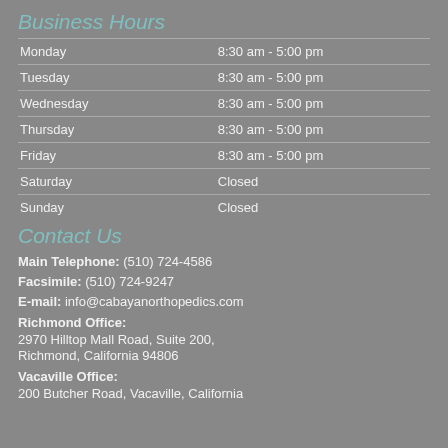Business Hours
| Day | Hours |
| --- | --- |
| Monday | 8:30 am - 5:00 pm |
| Tuesday | 8:30 am - 5:00 pm |
| Wednesday | 8:30 am - 5:00 pm |
| Thursday | 8:30 am - 5:00 pm |
| Friday | 8:30 am - 5:00 pm |
| Saturday | Closed |
| Sunday | Closed |
Contact Us
Main Telephone: (510) 724-4586
Facsimile: (510) 724-9247
E-mail: info@cabayanorthopedics.com
Richmond Office:
2970 Hilltop Mall Road, Suite 200, Richmond, California 94806
Vacaville Office:
200 Butcher Road, Vacaville, California